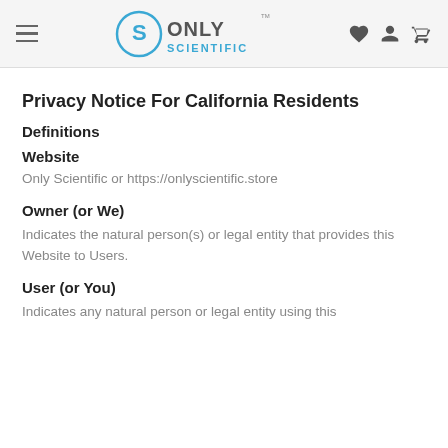Only Scientific — navigation header with hamburger menu, logo, and icons
Privacy Notice For California Residents
Definitions
Website
Only Scientific or https://onlyscientific.store
Owner (or We)
Indicates the natural person(s) or legal entity that provides this Website to Users.
User (or You)
Indicates any natural person or legal entity using this